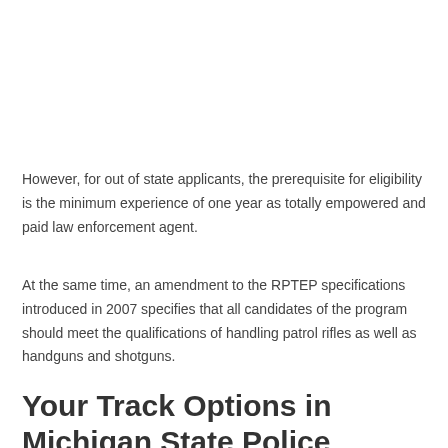However, for out of state applicants, the prerequisite for eligibility is the minimum experience of one year as totally empowered and paid law enforcement agent.
At the same time, an amendment to the RPTEP specifications introduced in 2007 specifies that all candidates of the program should meet the qualifications of handling patrol rifles as well as handguns and shotguns.
Your Track Options in Michigan State Police Training